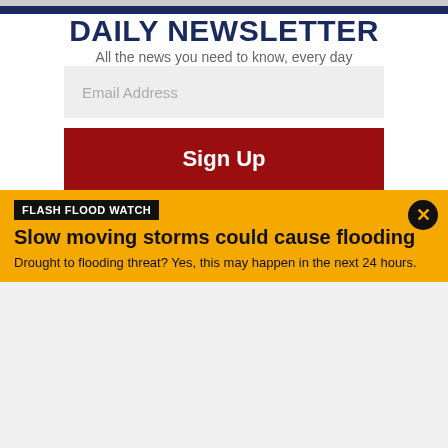DAILY NEWSLETTER
All the news you need to know, every day
Email Address
Sign Up
FLASH FLOOD WATCH
Slow moving storms could cause flooding
Drought to flooding threat? Yes, this may happen in the next 24 hours.